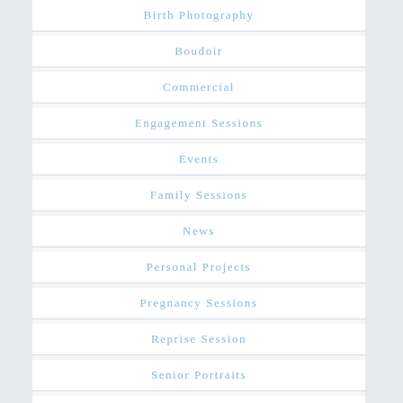Birth Photography
Boudoir
Commercial
Engagement Sessions
Events
Family Sessions
News
Personal Projects
Pregnancy Sessions
Reprise Session
Senior Portraits
Styled Shoot